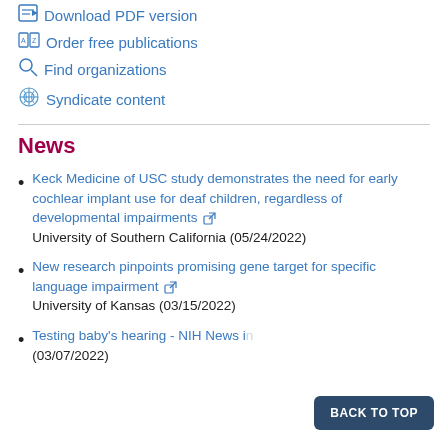Download PDF version
Order free publications
Find organizations
Syndicate content
News
Keck Medicine of USC study demonstrates the need for early cochlear implant use for deaf children, regardless of developmental impairments
University of Southern California (05/24/2022)
New research pinpoints promising gene target for specific language impairment
University of Kansas (03/15/2022)
Testing baby's hearing - NIH News in
(03/07/2022)